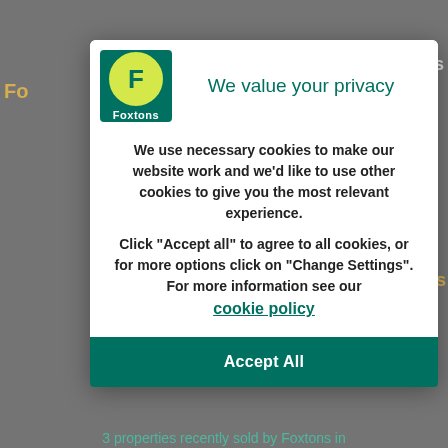[Figure (logo): Foxtons estate agency logo: green square background with yellow circle containing bold F, and Foxtons text below]
We value your privacy
We use necessary cookies to make our website work and we'd like to use other cookies to give you the most relevant experience.
Click “Accept all” to agree to all cookies, or for more options click on “Change Settings”. For more information see our cookie policy
Accept All
3 properties recently sold by Foxtons in